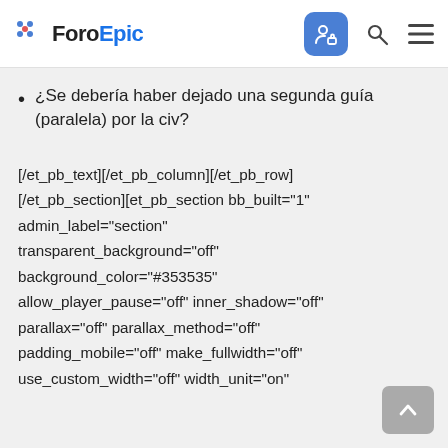ForoEpic
¿Se debería haber dejado una segunda guía (paralela) por la civ?
[/et_pb_text][/et_pb_column][/et_pb_row][/et_pb_section][et_pb_section bb_built="1" admin_label="section" transparent_background="off" background_color="#353535" allow_player_pause="off" inner_shadow="off" parallax="off" parallax_method="off" padding_mobile="off" make_fullwidth="off" use_custom_width="off" width_unit="on"